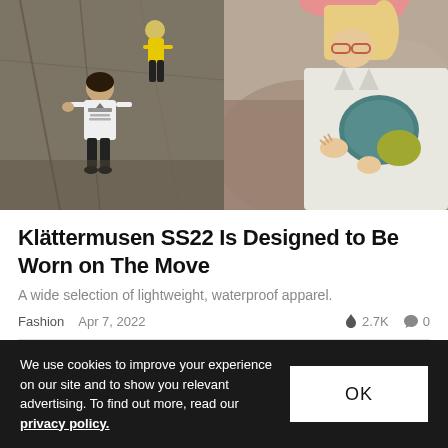[Figure (photo): Two outdoor/climbing photos side by side: left shows a climber on a rock face with another person in a white Klattermusen t-shirt watching; right shows a blonde woman in a hat and white jacket handling gear/backpack outdoors.]
Klättermusen SS22 Is Designed to Be Worn on The Move
A wide selection of lightweight, waterproof apparel.
Fashion  Apr 7, 2022  🔥 2.7K  💬 0
We use cookies to improve your experience on our site and to show you relevant advertising. To find out more, read our privacy policy.